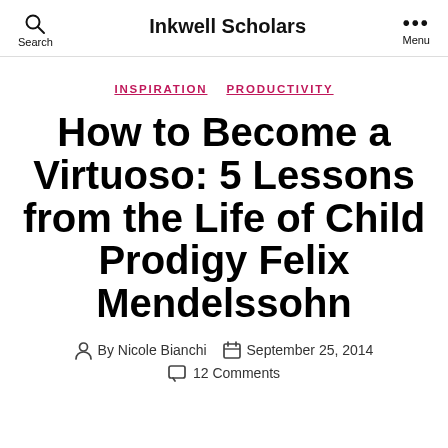Inkwell Scholars
INSPIRATION  PRODUCTIVITY
How to Become a Virtuoso: 5 Lessons from the Life of Child Prodigy Felix Mendelssohn
By Nicole Bianchi  September 25, 2014  12 Comments